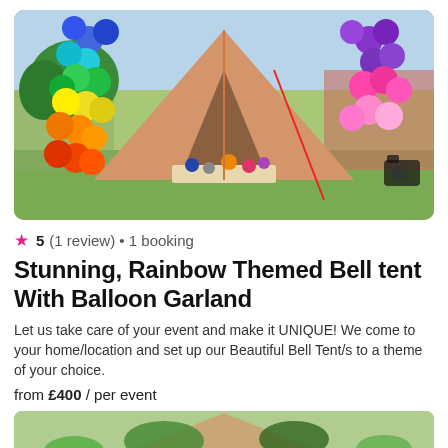[Figure (photo): A bell tent decorated with a rainbow balloon garland arch at the entrance, with colorful balloons scattered inside on a patterned rug, set outdoors on grass.]
★ 5 (1 review) • 1 booking
Stunning, Rainbow Themed Bell tent With Balloon Garland
Let us take care of your event and make it UNIQUE! We come to your home/location and set up our Beautiful Bell Tent/s to a theme of your choice.
from £400 / per event
[Figure (photo): Partial view of another decorated tent setup with greenery.]